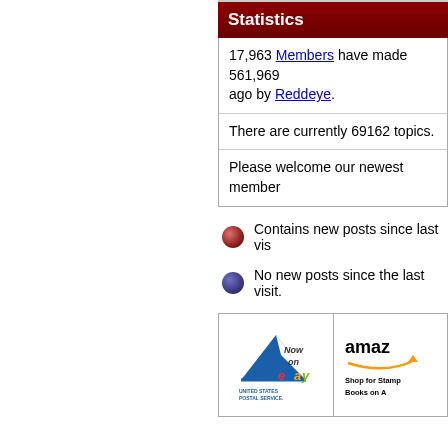Statistics
17,963 Members have made 561,969... ago by Reddeye.
There are currently 69162 topics.
Please welcome our newest member...
Contains new posts since last visit.
No new posts since the last visit.
[Figure (illustration): USPS logo with 'Now on eBay' text banner]
[Figure (illustration): Amazon logo with 'Shop for Stamps Books on A...' text]